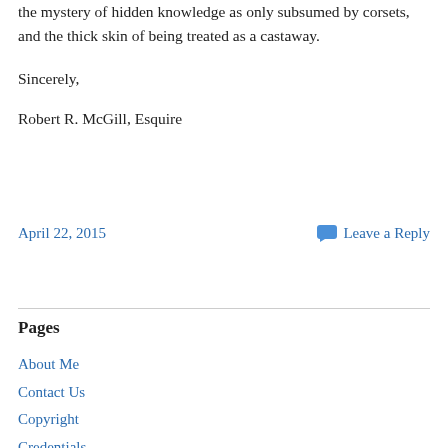the mystery of hidden knowledge as only subsumed by corsets, and the thick skin of being treated as a castaway.
Sincerely,
Robert R. McGill, Esquire
April 22, 2015
Leave a Reply
Pages
About Me
Contact Us
Copyright
Credentials